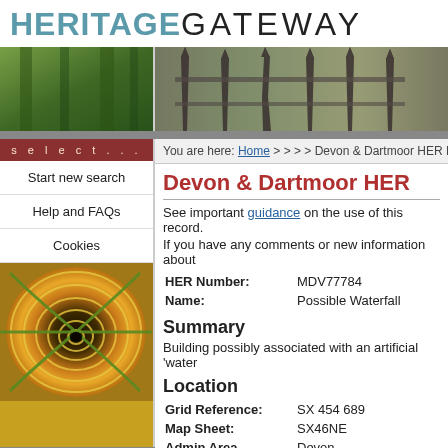HERITAGE GATEWAY
[Figure (photo): Banner: left half shows green foliage/trees background; right half shows decorative metal fence spears/posts against blurred greenery]
You are here: Home > > > > Devon & Dartmoor HER Re
Devon & Dartmoor HER
See important guidance on the use of this record.
If you have any comments or new information about
| HER Number: | MDV77784 |
| Name: | Possible Waterfall |
Summary
Building possibly associated with an artificial 'water
Location
| Grid Reference: | SX 454 689 |
| Map Sheet: | SX46NE |
| Admin Area | Devon |
| Civil Parish | Gulworthy |
| District | West Devon |